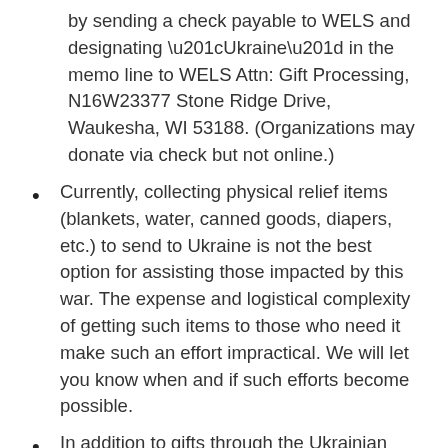by sending a check payable to WELS and designating “Ukraine” in the memo line to WELS Attn: Gift Processing, N16W23377 Stone Ridge Drive, Waukesha, WI 53188. (Organizations may donate via check but not online.)
Currently, collecting physical relief items (blankets, water, canned goods, diapers, etc.) to send to Ukraine is not the best option for assisting those impacted by this war. The expense and logistical complexity of getting such items to those who need it make such an effort impractical. We will let you know when and if such efforts become possible.
In addition to gifts through the Ukrainian Lutheran Church, some have made gifts to WELS Christian Aid and Relief (CAR). With those funds, CAR has made grants to Direct Relief (directrelief.org) to get aid to those who need assistance, especially for Ukrainian refugees in Poland. To date, WELS